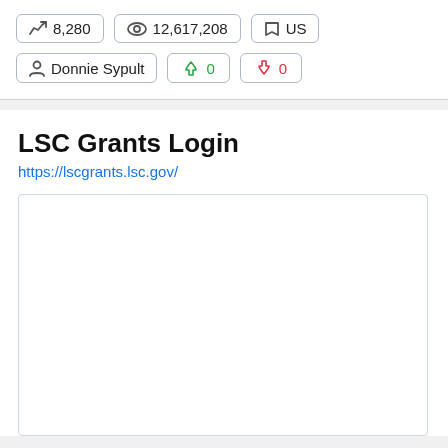8,280
12,617,208
US
Donnie Sypult
0
0
LSC Grants Login
https://lscgrants.lsc.gov/
[Figure (screenshot): Empty white preview box for the LSC Grants Login page]